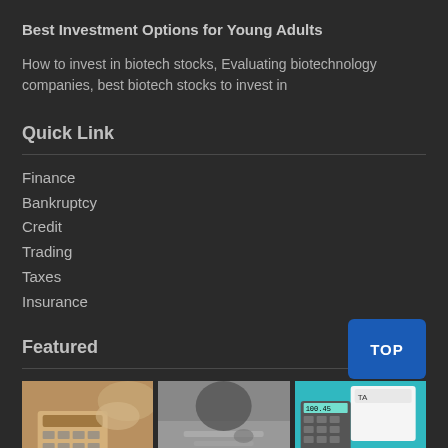Best Investment Options for Young Adults
How to invest in biotech stocks, Evaluating biotechnology companies, best biotech stocks to invest in
Quick Link
Finance
Bankruptcy
Credit
Trading
Taxes
Insurance
Featured
[Figure (photo): Three thumbnail images in a row: left shows hands using a calculator, center shows a person writing, right shows a calculator with a tax document. A blue 'TOP' button overlay appears on the right side.]